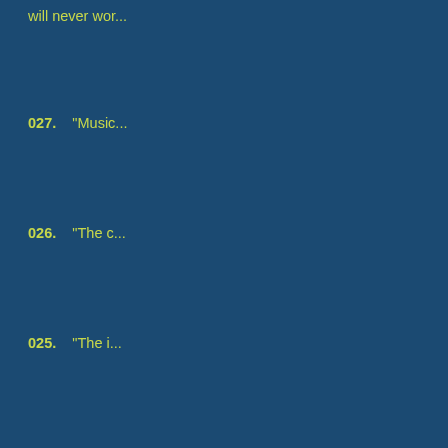will never wor...
027.    "Music...
026.    "The c...
025.    "The i...
024.    "Makin... and satisfying... that, talk."
023.    I have... Energy Busin... day... I will lea...
022.    "......w... for new subm... web link. Plea... technologies...